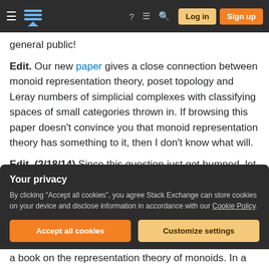Stack Exchange navigation bar with hamburger menu, logo, help, chat, search icons, Log in and Sign up buttons
general public!
Edit. Our new paper gives a close connection between monoid representation theory, poset topology and Leray numbers of simplicial complexes with classifying spaces of small categories thrown in. If browsing this paper doesn't convince you that monoid representation theory has something to it, then I don't know what will.
Edit. (2/18/14) Since this question just got bumped, let me add the new paper
Your privacy
By clicking "Accept all cookies", you agree Stack Exchange can store cookies on your device and disclose information in accordance with our Cookie Policy.
Accept all cookies
Customize settings
a book on the representation theory of monoids. In a